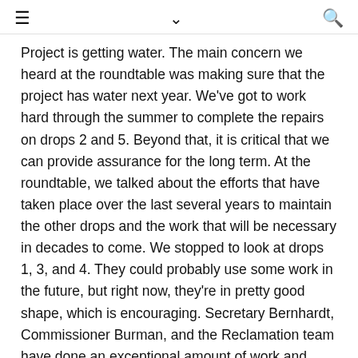≡  ⌄  🔍
Project is getting water. The main concern we heard at the roundtable was making sure that the project has water next year. We've got to work hard through the summer to complete the repairs on drops 2 and 5. Beyond that, it is critical that we can provide assurance for the long term. At the roundtable, we talked about the efforts that have taken place over the last several years to maintain the other drops and the work that will be necessary in decades to come. We stopped to look at drops 1, 3, and 4. They could probably use some work in the future, but right now, they're in pretty good shape, which is encouraging. Secretary Bernhardt, Commissioner Burman, and the Reclamation team have done an exceptional amount of work and provided up-front money to make sure that this work gets going immediately. The irrigators and others who have been affected were appreciative of the emergency extraordinary maintenance funding that we